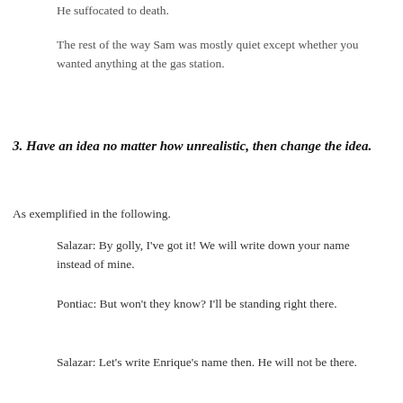He suffocated to death.
The rest of the way Sam was mostly quiet except whether you
wanted anything at the gas station.
3. Have an idea no matter how unrealistic, then change the idea.
As exemplified in the following.
Salazar: By golly, I've got it! We will write down your name instead of mine.
Pontiac: But won't they know? I'll be standing right there.
Salazar: Let's write Enrique's name then. He will not be there.